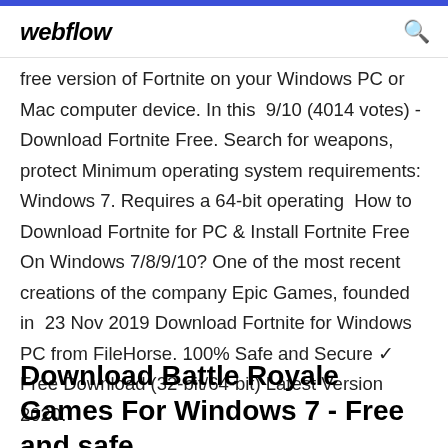webflow
free version of Fortnite on your Windows PC or Mac computer device. In this  9/10 (4014 votes) - Download Fortnite Free. Search for weapons, protect Minimum operating system requirements: Windows 7. Requires a 64-bit operating  How to Download Fortnite for PC & Install Fortnite Free On Windows 7/8/9/10? One of the most recent creations of the company Epic Games, founded in  23 Nov 2019 Download Fortnite for Windows PC from FileHorse. 100% Safe and Secure ✓ Free Download (32-bit/64-bit) Latest Version 2020.
Download Battle Royale Games For Windows 7 - Free and safe...